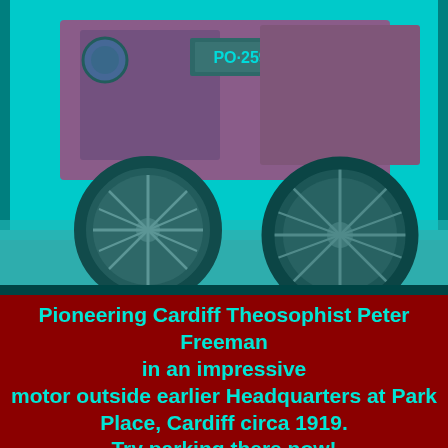[Figure (photo): A colorized vintage photograph showing an early automobile (circa 1919) with large spoked wheels and a license plate reading 'PO 2599', rendered with a cyan/teal color overlay against a dark red background. The car body appears in shades of magenta and the surroundings in cyan.]
Pioneering Cardiff Theosophist Peter Freeman in an impressive motor outside earlier Headquarters at Park Place, Cardiff circa 1919. Try parking there now!